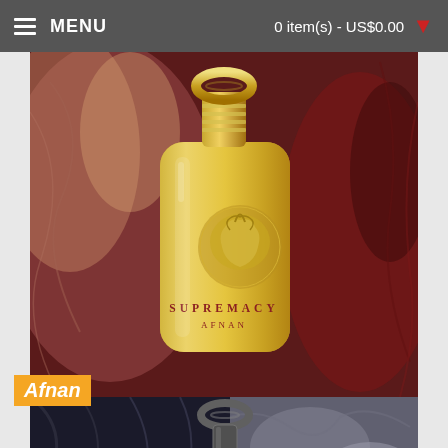MENU   0 item(s) - US$0.00
[Figure (photo): Gold perfume bottle labeled SUPREMACY AFNAN on a dark red/brown satin fabric background]
Afnan
[Figure (photo): Second perfume bottle (dark metallic) on dark satin fabric with rocky textures, partially visible]